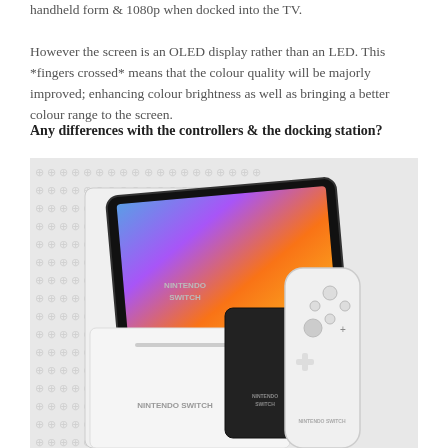handheld form & 1080p when docked into the TV.

However the screen is an OLED display rather than an LED. This *fingers crossed* means that the colour quality will be majorly improved; enhancing colour brightness as well as bringing a better colour range to the screen.
Any differences with the controllers & the docking station?
[Figure (photo): Nintendo Switch OLED model shown with white dock, the console screen displaying a colorful gradient, and white Joy-Con controllers. Background has a repeating Nintendo Switch button pattern in light grey.]